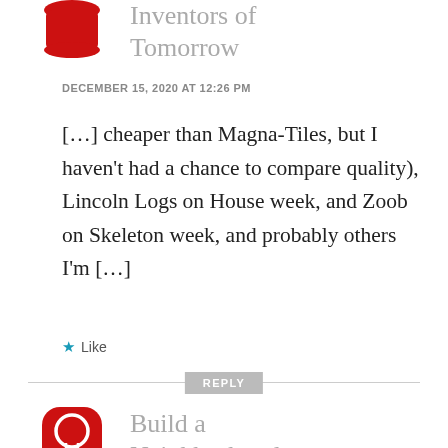[Figure (logo): Red icon/avatar (partially cropped at top) for 'Inventors of Tomorrow' blog commenter]
Inventors of Tomorrow
DECEMBER 15, 2020 AT 12:26 PM
[…] cheaper than Magna-Tiles, but I haven't had a chance to compare quality), Lincoln Logs on House week, and Zoob on Skeleton week, and probably others I'm […]
Like
REPLY
[Figure (logo): Red lightbulb icon/avatar for 'Build a Neighborhood – Inventors of' commenter]
Build a Neighborhood – Inventors of